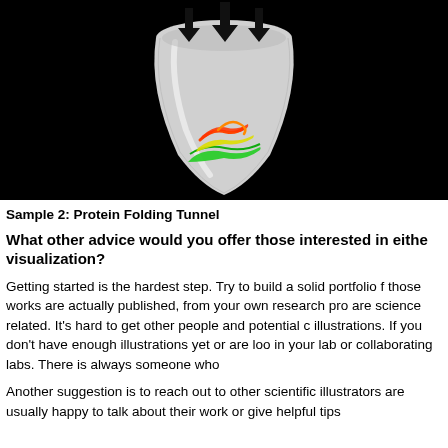[Figure (illustration): 3D rendering of a protein folding tunnel on a black background. A white funnel/tube shape points downward with three large black arrows pointing into the top of the tunnel. Inside the tunnel are colorful protein ribbon structures in red, orange, yellow, and green.]
Sample 2: Protein Folding Tunnel
What other advice would you offer those interested in either visualization?
Getting started is the hardest step. Try to build a solid portfolio f those works are actually published, from your own research pro are science related. It's hard to get other people and potential c illustrations. If you don't have enough illustrations yet or are loo in your lab or collaborating labs. There is always someone who
Another suggestion is to reach out to other scientific illustrators are usually happy to talk about their work or give helpful tips